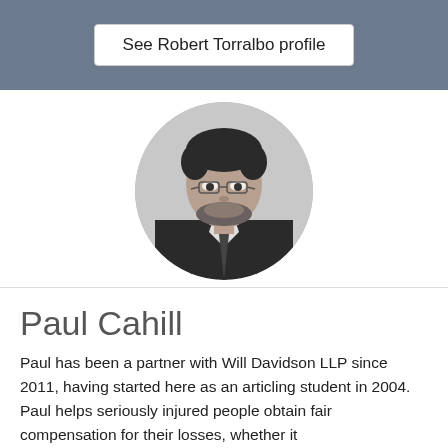See Robert Torralbo profile
[Figure (photo): Black and white circular portrait photo of Paul Cahill, a man with glasses and a beard wearing a suit and tie]
Paul Cahill
Paul has been a partner with Will Davidson LLP since 2011, having started here as an articling student in 2004. Paul helps seriously injured people obtain fair compensation for their losses, whether it